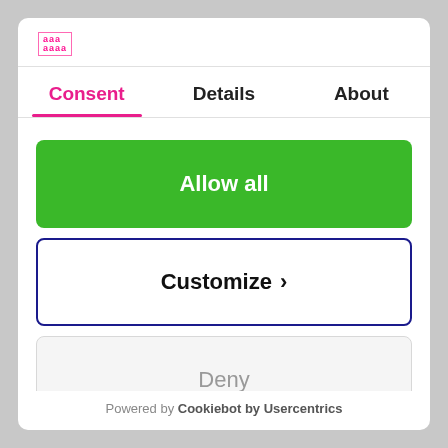[Figure (logo): Small pink/magenta brand logo text in top-left of dialog]
Consent | Details | About
Allow all
Customize ›
Deny
Powered by Cookiebot by Usercentrics